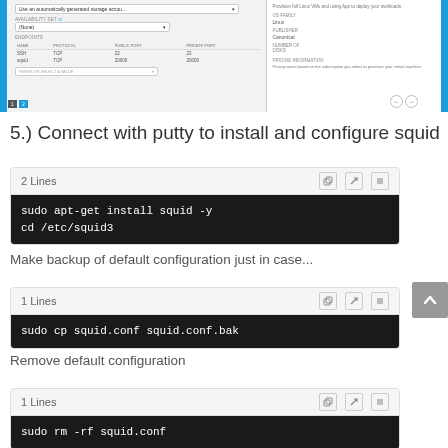[Figure (screenshot): Azure VM configuration screenshot showing availability set, endpoints table with SSH/squid entries (TCP ports 22, 20000), and right panel with OS/publisher/pricing info. Blue bars on sides, navigation arrows at bottom.]
5.) Connect with putty to install and configure squid
[Figure (screenshot): Code block with header '2 Lines' and icons, containing: sudo apt-get install squid -y / cd /etc/squid3]
Make backup of default configuration just in case...
[Figure (screenshot): Code block with header '1 Lines' and icons, containing: sudo cp squid.conf squid.conf.bak]
Remove default configuration
[Figure (screenshot): Code block with header '1 Lines' and icons, containing: sudo rm -rf squid.conf]